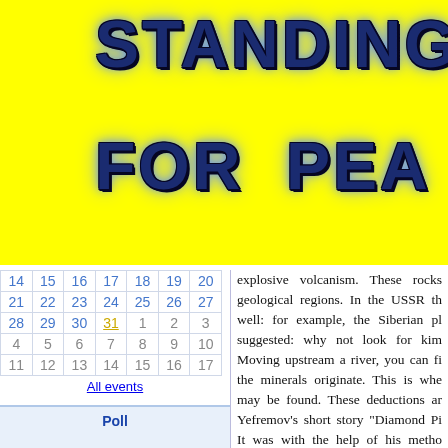[Figure (logo): Yellow banner with large bold dark blue stylized text reading 'STANDING FOR PEA' (partially cropped) with lightning/cracked texture effect]
| 14 | 15 | 16 | 17 | 18 | 19 | 20 |
| 21 | 22 | 23 | 24 | 25 | 26 | 27 |
| 28 | 29 | 30 | 31 | 1 | 2 | 3 |
| 4 | 5 | 6 | 7 | 8 | 9 | 10 |
| 11 | 12 | 13 | 14 | 15 | 16 | 17 |
All events
Poll
Vote!
explosive volcanism. These rocks geological regions. In the USSR th well: for example, the Siberian pl suggested: why not look for kim Moving upstream a river, you can fi the minerals originate. This is whe may be found. These deductions ar Yefremov’s short story “Diamond Pi It was with the help of his metho Popugaeva discovered the first di Yakutia in 1954.
How Ivan Yefremov Founded a Ne
One of his most important pred Yefremov to create the science o theory of the stages and pattern turning into fossil remains. His sp true during three expeditions t leadership in 1946 -1949. The re